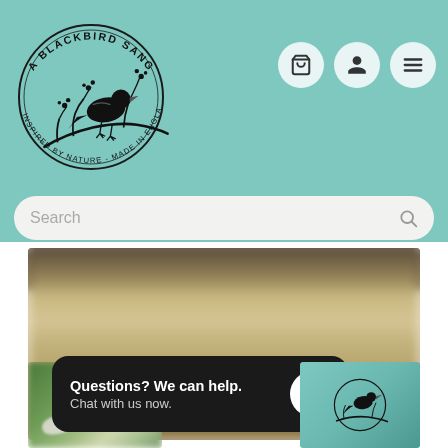[Figure (logo): A Blackbird Sang logo — circular design with blackbird silhouette on branch, text 'A Blackbird Sang' around top, 'Inspired by Nature - Made in England' around bottom]
[Figure (screenshot): Three circular icon buttons: shopping cart, user/person, and hamburger menu, on teal header background]
[Figure (screenshot): Search bar with placeholder text 'Search' and a magnifying glass icon on right]
[Figure (photo): Blurred banner image showing what appears to be stone or natural materials in muted beige and brown tones]
[Figure (photo): Blurred thumbnail photo at bottom left showing greenery/garden scene]
[Figure (screenshot): Chat popup overlay: dark background with text 'Questions? We can help. Chat with us now.' and blue chat bubble icon]
[Figure (logo): Small logo thumbnail at bottom right showing A Blackbird Sang branding on teal background]